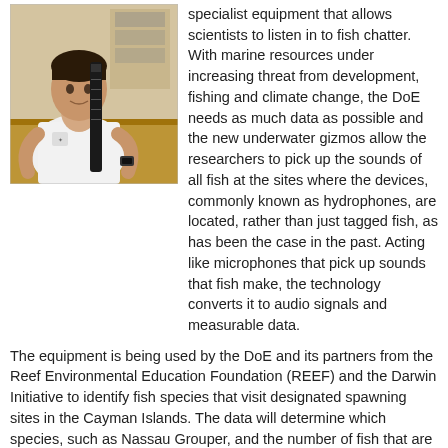[Figure (photo): A person in a white shirt sitting at a wooden desk, holding what appears to be a cylindrical scientific instrument (hydrophone), with laboratory/office equipment visible in the background.]
specialist equipment that allows scientists to listen in to fish chatter. With marine resources under increasing threat from development, fishing and climate change, the DoE needs as much data as possible and the new underwater gizmos allow the researchers to pick up the sounds of all fish at the sites where the devices, commonly known as hydrophones, are located, rather than just tagged fish, as has been the case in the past. Acting like microphones that pick up sounds that fish make, the technology converts it to audio signals and measurable data.
The equipment is being used by the DoE and its partners from the Reef Environmental Education Foundation (REEF) and the Darwin Initiative to identify fish species that visit designated spawning sites in the Cayman Islands. The data will determine which species, such as Nassau Grouper, and the number of fish that are frequenting the sites. DoE Marine Research Officer Bradley Johnson said the hydrophones provide stronger data than the methods used previously.
"We have been tracking fish species via in-water monitoring and acoustic tagging for many years now. However, this allowed us to only track fish that we tagged while they passed by the monitoring stations," Johnson said. "With these hydrophones, we can now record underwater sounds at the spawning sites every five minutes. The data is more comprehensive and ultimately they provide greater understanding of which species use the